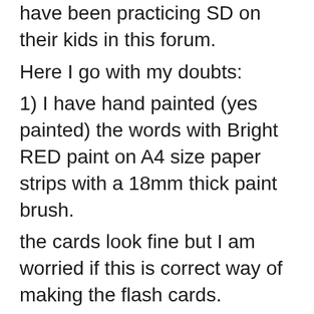have been practicing SD on their kids in this forum.
Here I go with my doubts:
1) I have hand painted (yes painted) the words with Bright RED paint on A4 size paper strips with a 18mm thick paint brush.
the cards look fine but I am worried if this is correct way of making the flash cards.
Is Painting the words instead of PRINTING them OK?
2) I work fulltime therefore I can devote time to my son first thing in the morning, i.e have a quick session in morning and